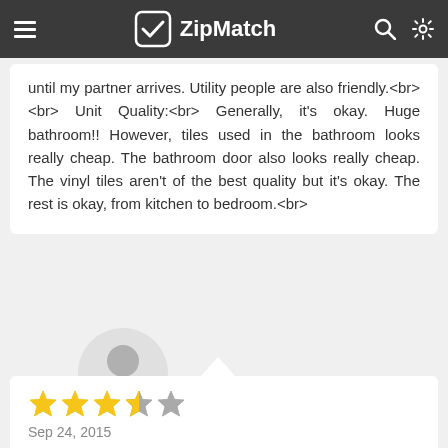ZipMatch
until my partner arrives. Utility people are also friendly.<br> <br> Unit Quality:<br> Generally, it's okay. Huge bathroom!! However, tiles used in the bathroom looks really cheap. The bathroom door also looks really cheap. The vinyl tiles aren't of the best quality but it's okay. The rest is okay, from kitchen to bedroom.<br>
[Figure (photo): User avatar placeholder - grey circle with silhouette icon]
Michael Rupisan
Lives here
[Figure (other): 3.5 star rating out of 5]
Sep 24, 2015
Everything is good except for the outside of...